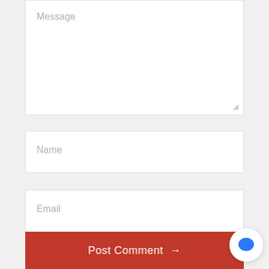[Figure (screenshot): Message textarea input field with placeholder text 'Message' and resize handle at bottom right]
[Figure (screenshot): Name text input field with placeholder text 'Name']
[Figure (screenshot): Email text input field with placeholder text 'Email']
[Figure (screenshot): Red 'Post Comment →' submit button]
[Figure (screenshot): Blue chat bubble icon in white circle at bottom right corner]